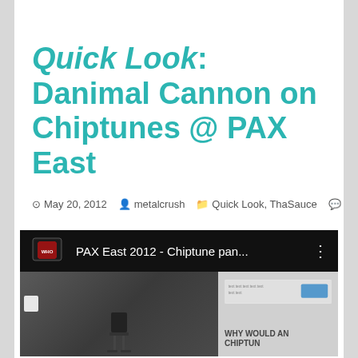Quick Look: Danimal Cannon on Chiptunes @ PAX East
May 20, 2012   metalcrush   Quick Look, ThaSauce   0
[Figure (screenshot): YouTube video embed showing 'PAX East 2012 - Chiptune pan...' with a video thumbnail of a conference room with a projection screen reading 'WHY WOULD AN CHIPTUN']